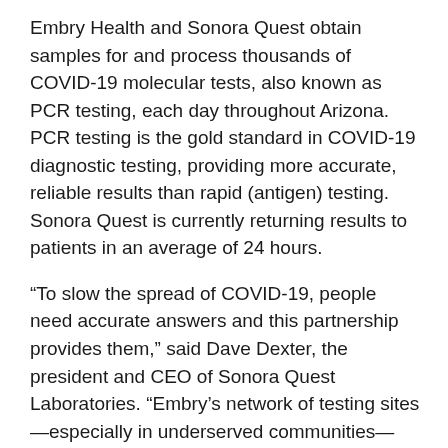Embry Health and Sonora Quest obtain samples for and process thousands of COVID-19 molecular tests, also known as PCR testing, each day throughout Arizona. PCR testing is the gold standard in COVID-19 diagnostic testing, providing more accurate, reliable results than rapid (antigen) testing. Sonora Quest is currently returning results to patients in an average of 24 hours.
“To slow the spread of COVID-19, people need accurate answers and this partnership provides them,” said Dave Dexter, the president and CEO of Sonora Quest Laboratories. “Embry’s network of testing sites—especially in underserved communities—ensures even more people have access to the gold-standard in COVID-19 testing to keep our communities healthy.”
Embry Health’s drive-thru COVID-19 sample collection model emphasizes patient convenience, allowing entire families to be tested at the same time without leaving the car. This method combined with Sonora Quest’s ability to provide results to all Embry Health patients through both Sonora Quest’s and Embry